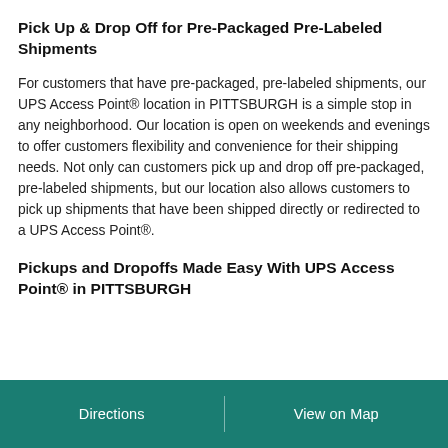Pick Up & Drop Off for Pre-Packaged Pre-Labeled Shipments
For customers that have pre-packaged, pre-labeled shipments, our UPS Access Point® location in PITTSBURGH is a simple stop in any neighborhood. Our location is open on weekends and evenings to offer customers flexibility and convenience for their shipping needs. Not only can customers pick up and drop off pre-packaged, pre-labeled shipments, but our location also allows customers to pick up shipments that have been shipped directly or redirected to a UPS Access Point®.
Pickups and Dropoffs Made Easy With UPS Access Point® in PITTSBURGH
Directions | View on Map